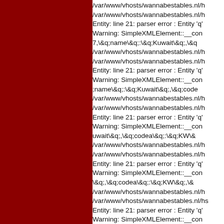/var/www/vhosts/wannabestables.nl/h
/var/www/vhosts/wannabestables.nl/h
Entity: line 21: parser error : Entity 'q'
Warning: SimpleXMLElement::__con
7,\&q;name\&q;:\&q;Kuwait\&q;,\&q
/var/www/vhosts/wannabestables.nl/h
/var/www/vhosts/wannabestables.nl/h
Entity: line 21: parser error : Entity 'q'
Warning: SimpleXMLElement::__con
;name\&q;:\&q;Kuwait\&q;,\&q;code
/var/www/vhosts/wannabestables.nl/h
/var/www/vhosts/wannabestables.nl/h
Entity: line 21: parser error : Entity 'q'
Warning: SimpleXMLElement::__con
uwait\&q;,\&q;codea\&q;:\&q;KW\&
/var/www/vhosts/wannabestables.nl/h
/var/www/vhosts/wannabestables.nl/h
Entity: line 21: parser error : Entity 'q'
Warning: SimpleXMLElement::__con
\&q;,\&q;codea\&q;:\&q;KW\&q;,\&
/var/www/vhosts/wannabestables.nl/h
/var/www/vhosts/wannabestables.nl/hs
Entity: line 21: parser error : Entity 'q'
Warning: SimpleXMLElement::__con
q;codea\&q;:\&q;KW\&q;,\&codeb